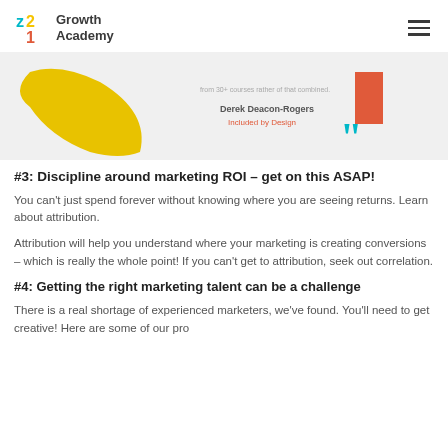z21 Growth Academy
[Figure (photo): Testimonial image with yellow decorative swoosh, quote text mentioning Derek Deacon-Rogers from Included by Design, teal quotation marks, and a coral/red rectangle accent on a light grey background.]
#3:  Discipline around marketing ROI – get on this ASAP!
You can't just spend forever without knowing where you are seeing returns.  Learn about attribution.
Attribution will help you understand where your marketing is creating conversions – which is really the whole point!  If you can't get to attribution, seek out correlation.
#4: Getting the right marketing talent can be a challenge
There is a real shortage of experienced marketers, we've found. You'll need to get creative!  Here are some of our pro